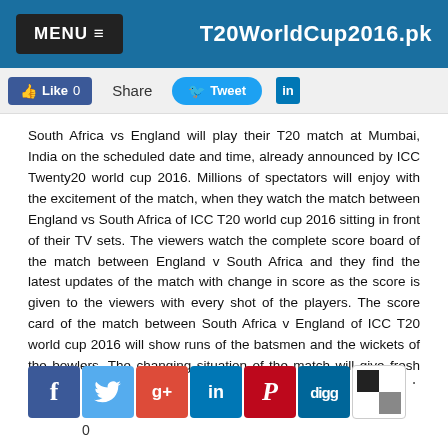MENU ≡  T20WorldCup2016.pk
Like 0   Share   Tweet   in
South Africa vs England will play their T20 match at Mumbai, India on the scheduled date and time, already announced by ICC Twenty20 world cup 2016. Millions of spectators will enjoy with the excitement of the match, when they watch the match between England vs South Africa of ICC T20 world cup 2016 sitting in front of their TV sets. The viewers watch the complete score board of the match between England v South Africa and they find the latest updates of the match with change in score as the score is given to the viewers with every shot of the players. The score card of the match between South Africa v England of ICC T20 world cup 2016 will show runs of the batsmen and the wickets of the bowlers. The changing situation of the match will give fresh updates of the match and the updated score board of the match will be given at
[Figure (other): Social media share icons: Facebook, Twitter, Google+, LinkedIn, Pinterest, Digg, and a checkered icon. Below shows count: 0]